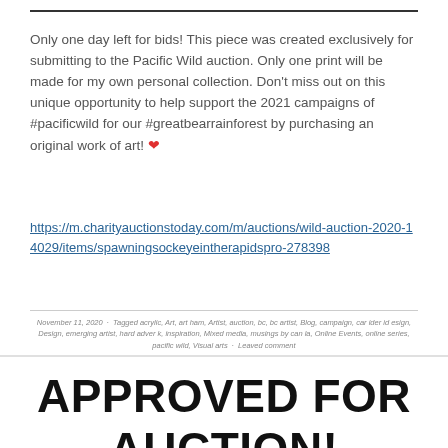Only one day left for bids! This piece was created exclusively for submitting to the Pacific Wild auction. Only one print will be made for my own personal collection. Don't miss out on this unique opportunity to help support the 2021 campaigns of #pacificwild for our #greatbearrainforest by purchasing an original work of art! ❤
https://m.charityauctionstoday.com/m/auctions/wild-auction-2020-14029/items/spawningsockeyeintherapidspro-278398
November 11, 2020 · Tagged acrylic, Art, art ham, Artist, auction, bc, bc artist, Blog, campaign, car ider id esign, Design, emerging artist, hard adver k, inspiration, Mixed media, musings by can la, Online Events, online series, pacific wild, Visual arts · Leaved comment
APPROVED FOR AUCTION!